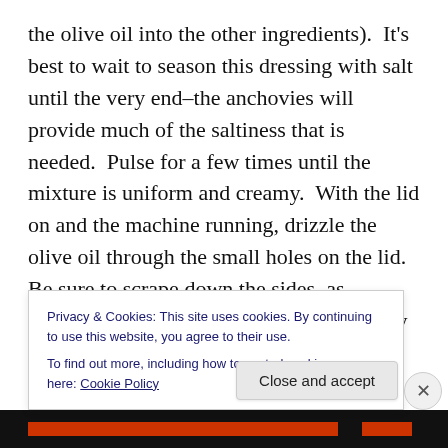the olive oil into the other ingredients). It's best to wait to season this dressing with salt until the very end–the anchovies will provide much of the saltiness that is needed. Pulse for a few times until the mixture is uniform and creamy. With the lid on and the machine running, drizzle the olive oil through the small holes on the lid. Be sure to scrape down the sides, as needed. When it is creamy and completely incorporated, it is done. Season with salt and pepper as needed. Use immediately (this dressing does not have a long life because of the egg yolks, so use it the day it is made). Enjoy!
Privacy & Cookies: This site uses cookies. By continuing to use this website, you agree to their use.
To find out more, including how to control cookies, see here: Cookie Policy
Close and accept